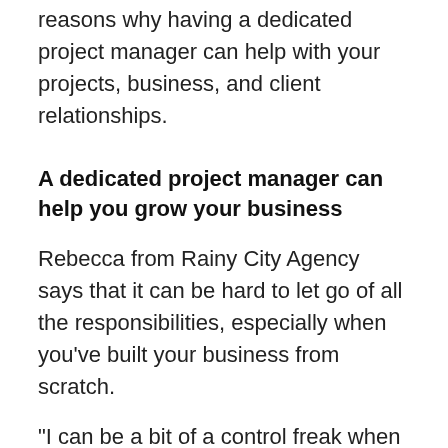For this action point, we'll go over just a few reasons why having a dedicated project manager can help with your projects, business, and client relationships.
A dedicated project manager can help you grow your business
Rebecca from Rainy City Agency says that it can be hard to let go of all the responsibilities, especially when you've built your business from scratch.
“I can be a bit of a control freak when it comes to projects, so at the beginning I was doing